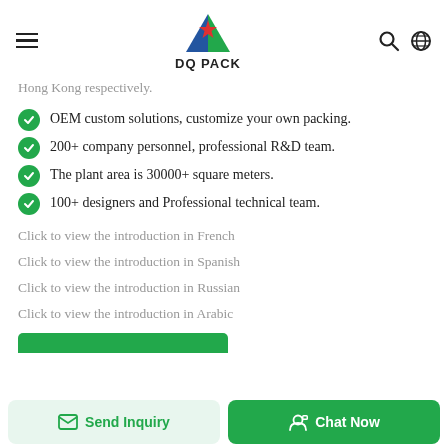DQ PACK
Hong Kong respectively.
OEM custom solutions, customize your own packing.
200+ company personnel, professional R&D team.
The plant area is 30000+ square meters.
100+ designers and Professional technical team.
Click to view the introduction in French
Click to view the introduction in Spanish
Click to view the introduction in Russian
Click to view the introduction in Arabic